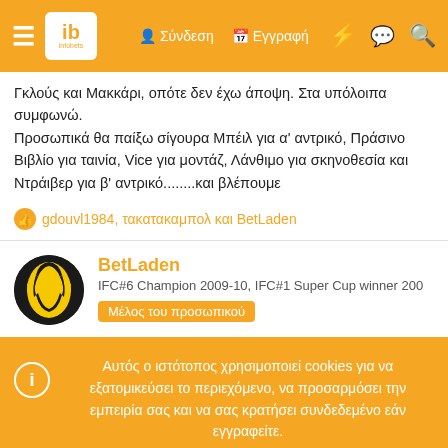infobets header navigation
Γκλούς και Μακκάρι, οπότε δεν έχω άποψη. Στα υπόλοιπα συμφωνώ.
Προσωπικά θα παίξω σίγουρα Μπέιλ για α' αντρικό, Πράσινο Βιβλίο για ταινία, Vice για μοντάζ, Λάνθιμο για σκηνοθεσία και Ντράιβερ για β' αντρικό........και βλέπουμε
gdouvl1984, τακατακαμπολ και BetLaden
BetLaden
IFC#6 Champion 2009-10, IFC#1 Super Cup winner 200
Μέλος του προσωπικού
Αυτός ο ιστότοπος χρησιμοποιεί cookies για να εξατομικεύσει το περιεχόμενο, να προσαρμόσει την εμπειρία σας και να σας κρατήσει συνδεδεμένο εάν εγγραφείτε.
Συνεχίζοντας τη χρήση αυτού του ιστότοπου, συναινείτε στη χρήση των cookie μας.
Αποδοχή   Μάθετε περισσότερα...